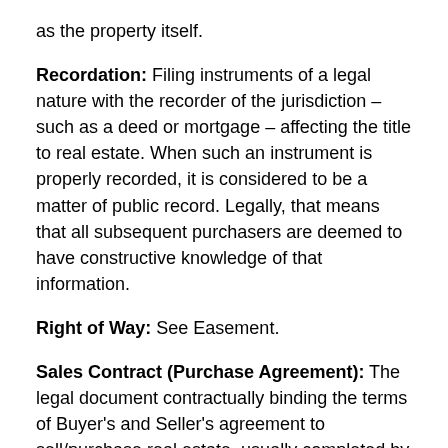as the property itself.
Recordation: Filing instruments of a legal nature with the recorder of the jurisdiction – such as a deed or mortgage – affecting the title to real estate. When such an instrument is properly recorded, it is considered to be a matter of public record. Legally, that means that all subsequent purchasers are deemed to have constructive knowledge of that information.
Right of Way: See Easement.
Sales Contract (Purchase Agreement): The legal document contractually binding the terms of Buyer's and Seller's agreement to sell/purchase real estate, usually completed by the real estate agent and signed by both parties.
Short Sale: A real estate transaction in which the sales